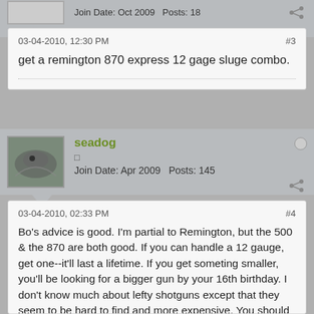Join Date: Oct 2009   Posts: 18
03-04-2010, 12:30 PM
#3
get a remington 870 express 12 gage sluge combo.
seadog
Join Date: Apr 2009   Posts: 145
03-04-2010, 02:33 PM
#4
Bo's advice is good. I'm partial to Remington, but the 500 & the 870 are both good. If you can handle a 12 gauge, get one--it'll last a lifetime. If you get someting smaller, you'll be looking for a bigger gun by your 16th birthday. I don't know much about lefty shotguns except that they seem to be hard to find and more expensive. You should be OK shooting a pump action lefty. I've shot mine off-hand a few times & I didn't have a problem even though I don't practice it much.